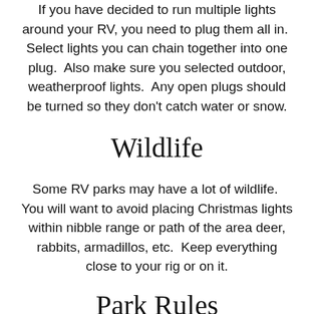If you have decided to run multiple lights around your RV, you need to plug them all in.  Select lights you can chain together into one plug.  Also make sure you selected outdoor, weatherproof lights.  Any open plugs should be turned so they don't catch water or snow.
Wildlife
Some RV parks may have a lot of wildlife.  You will want to avoid placing Christmas lights within nibble range or path of the area deer, rabbits, armadillos, etc.  Keep everything close to your rig or on it.
Park Rules